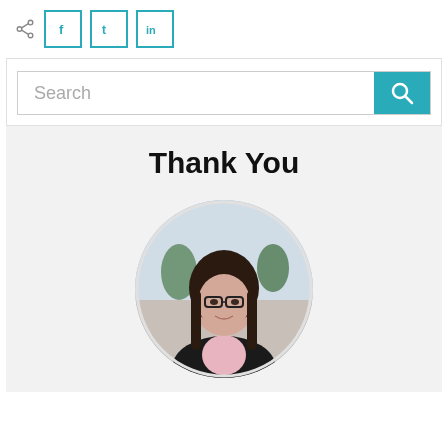[Figure (infographic): Share icon and social media buttons for Facebook, Twitter, and LinkedIn with teal colored borders]
[Figure (infographic): Search bar with placeholder text 'Search' and a teal search button with magnifying glass icon]
Thank You
[Figure (photo): Circular cropped portrait photo of a woman with long dark hair, glasses, wearing a black blazer over a pink floral blouse, smiling, with a blurred outdoor background]